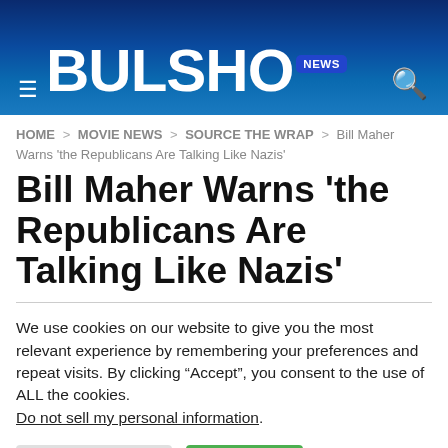BULSHO NEWS
HOME > MOVIE NEWS > SOURCE THE WRAP > Bill Maher Warns 'the Republicans Are Talking Like Nazis'
Bill Maher Warns 'the Republicans Are Talking Like Nazis'
We use cookies on our website to give you the most relevant experience by remembering your preferences and repeat visits. By clicking “Accept”, you consent to the use of ALL the cookies.
Do not sell my personal information.
Cookie Settings  Accept